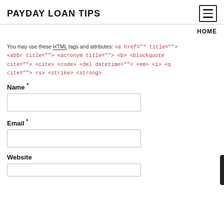PAYDAY LOAN TIPS
HOME
You may use these HTML tags and attributes: <a href="" title=""> <abbr title=""> <acronym title=""> <b> <blockquote cite=""> <cite> <code> <del datetime=""> <em> <i> <q cite=""> <s> <strike> <strong>
Name *
Email *
Website